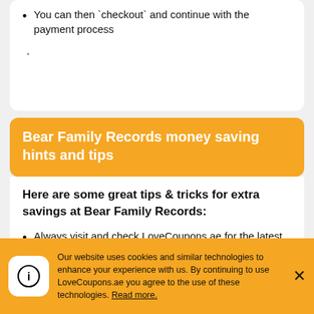You can then `checkout` and continue with the payment process
.
Bear Family Records money saving hints and tips
Here are some great tips & tricks for extra savings at Bear Family Records:
Always visit and check LoveCoupons.ae for the latest money-saving discount codes and deals at Bear Family Records before you
Our website uses cookies and similar technologies to enhance your experience with us. By continuing to use LoveCoupons.ae you agree to the use of these technologies. Read more.